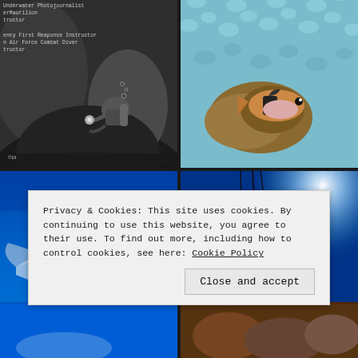[Figure (photo): Black and white underwater photo of a scuba diver near a large rock, with text overlay listing credentials including Underwater Photojournalist, Emergency First Response Instructor, US Air Force Combat Diver Instructor]
[Figure (photo): Colorful underwater photo of a small fish (appears to be a blenny or similar) partially hidden in blue and white coral reef]
[Figure (photo): Underwater photo with deep blue water and what appears to be a manta ray or large marine creature visible against blue background]
[Figure (photo): Underwater coral reef scene with bright sunlight rays streaming from top right, red/orange coral visible at bottom]
Privacy & Cookies: This site uses cookies. By continuing to use this website, you agree to their use. To find out more, including how to control cookies, see here: Cookie Policy
[Figure (photo): Partial underwater blue water photo at bottom left]
[Figure (photo): Partial underwater coral/anemone photo at bottom right]